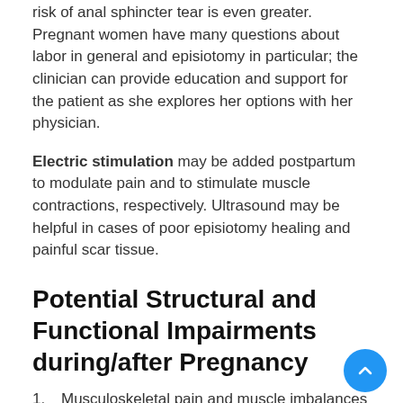risk of anal sphincter tear is even greater. Pregnant women have many questions about labor in general and episiotomy in particular; the clinician can provide education and support for the patient as she explores her options with her physician.
Electric stimulation may be added postpartum to modulate pain and to stimulate muscle contractions, respectively. Ultrasound may be helpful in cases of poor episiotomy healing and painful scar tissue.
Potential Structural and Functional Impairments during/after Pregnancy
1. Musculoskeletal pain and muscle imbalances from faulty postures
2. Poor body mechanics related to lack of knowledge, changing body size, and physical demands of childcare